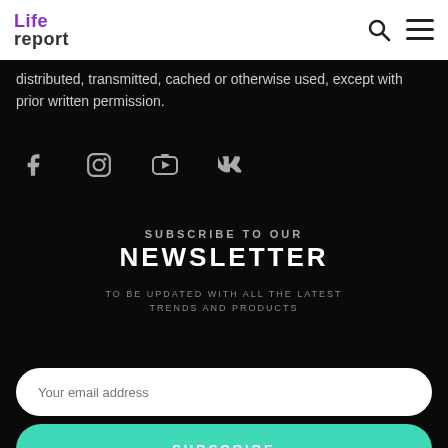Life report
distributed, transmitted, cached or otherwise used, except with prior written permission.
[Figure (other): Social media icons row: Facebook, Instagram, YouTube, VK]
SUBSCRIBE TO OUR NEWSLETTER
TO BE UPDATED WITH ALL THE LATEST TRENDS AND PRODUCTS
Your email address
SUBSCRIBE